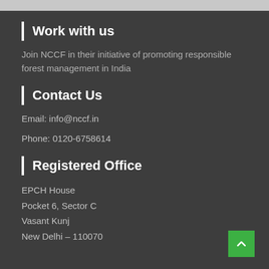Work with us
Join NCCF in their initiative of promoting responsible forest management in India
Contact Us
Email: info@nccf.in
Phone: 0120-6758614
Registered Office
EPCH House
Pocket 6, Sector C
Vasant Kunj
New Delhi – 110070